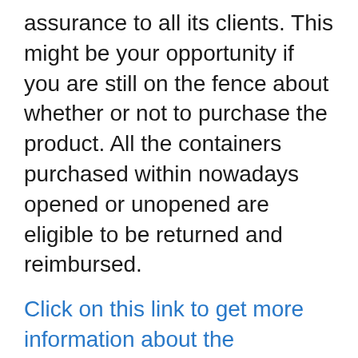assurance to all its clients. This might be your opportunity if you are still on the fence about whether or not to purchase the product. All the containers purchased within nowadays opened or unopened are eligible to be returned and reimbursed.
Click on this link to get more information about the Advantages of VigRX Plus on the Authorities Site.
Does VigRX Program Any Side-Effects?
All the active ingredients used in the item are natural without any adulteration. The business claims to provide an item which can be utilized by any guys above the age of 18 years, who are facing sexual issues. The market is filled with items that use the very